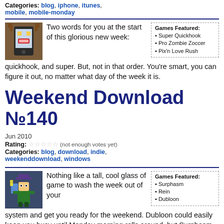Categories: blog, iphone, itunes, mobile, mobile-monday
[Figure (illustration): Pixel art illustration of a smartphone with a cartoon face character]
Two words for you at the start of this glorious new week: quickhook, and super. But, not in that order. You're smart, you can figure it out, no matter what day of the week it is.
Games Featured: • Super Quickhook • Pro Zombie Zoccer • Pix'n Love Rush
Weekend Download №140
Jun 2010
Rating: ☆☆☆☆☆ (not enough votes yet)
Categories: blog, download, indie, weekenddownload, windows
[Figure (illustration): Pixel art illustration of a game character with a hat]
Nothing like a tall, cool glass of game to wash the week out of your system and get you ready for the weekend. Dubloon could easily keep you busy until Monday morning rolls around, but Surphasm is unique
Games Featured: • Surphasm • Rein • Dubloon